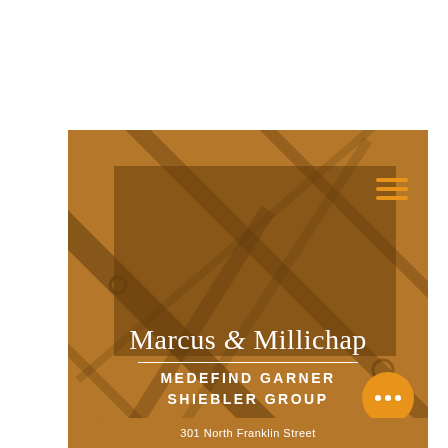[Figure (logo): Marcus & Millichap Medefind Garner Shiebler Group logo on brown background with diagonal decorative lines and dark overlay rectangle with hamburger menu icon]
Marcus & Millichap
MEDEFIND GARNER SHIEBLER GROUP
301 North Franklin Street